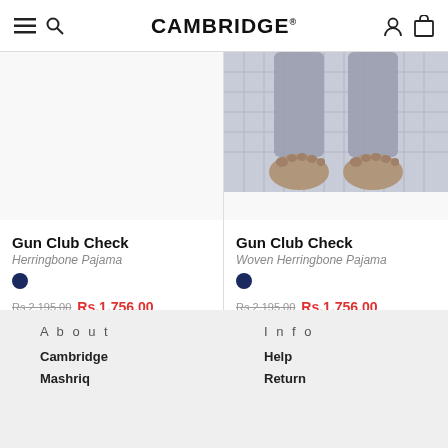CAMBRIDGE®
[Figure (photo): Product image area for Gun Club Check Herringbone Pajama - left card, mostly white/blank]
[Figure (photo): Product image of Gun Club Check Woven Herringbone Pajama showing lower legs and bare feet on white background with grey checked fabric]
Gun Club Check
Herringbone Pajama
Rs.2,195.00   Rs.1,756.00
Gun Club Check
Woven Herringbone Pajama
Rs.2,195.00   Rs.1,756.00
About  Info  Cambridge  Help  Mashriq  Return